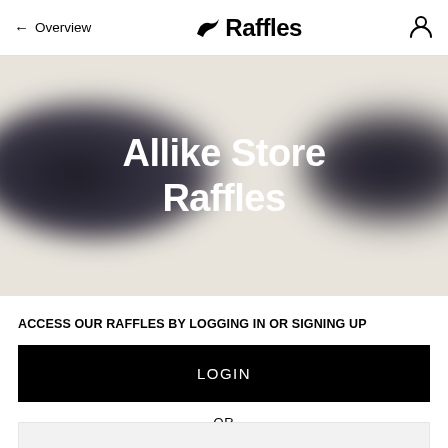← Overview   🐦 Raffles   [user icon]
[Figure (illustration): Hero banner with beige/off-white background and blurry dark sneaker silhouettes on left and right, with large white bold text reading 'Allike Store Raffles' centered.]
Allike Store Raffles
ACCESS OUR RAFFLES BY LOGGING IN OR SIGNING UP
LOGIN
-OR-